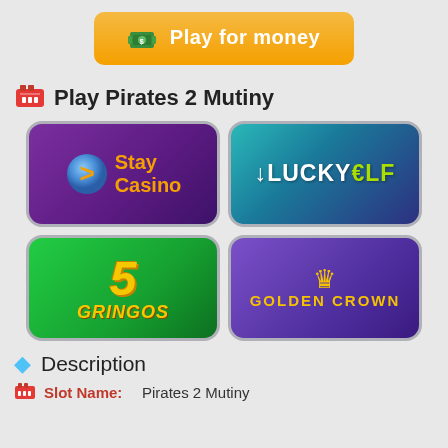[Figure (illustration): Orange 'Play for money' button with a green money/cash icon on the left]
Play Pirates 2 Mutiny
[Figure (logo): Stay Casino logo — purple background with orange S logo and orange 'Stay Casino' text]
[Figure (logo): Lucky Elf casino logo — teal/blue gradient background with white and green 'LUCKY ELF' text]
[Figure (logo): 5 Gringos casino logo — green background with large yellow/gold '5' and 'GRINGOS' text]
[Figure (logo): Golden Crown casino logo — purple background with gold crown icon and 'GOLDEN CROWN' text]
Description
Slot Name:   Pirates 2 Mutiny